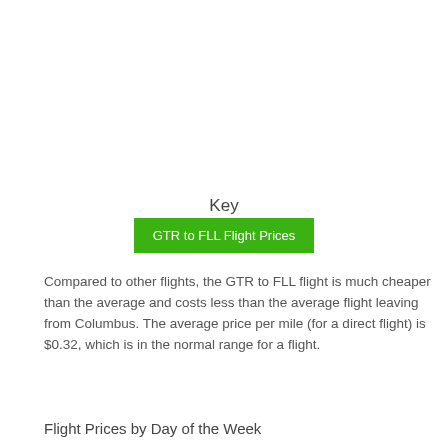Key
[Figure (infographic): Green button legend item labeled 'GTR to FLL Flight Prices']
Compared to other flights, the GTR to FLL flight is much cheaper than the average and costs less than the average flight leaving from Columbus. The average price per mile (for a direct flight) is $0.32, which is in the normal range for a flight.
Flight Prices by Day of the Week